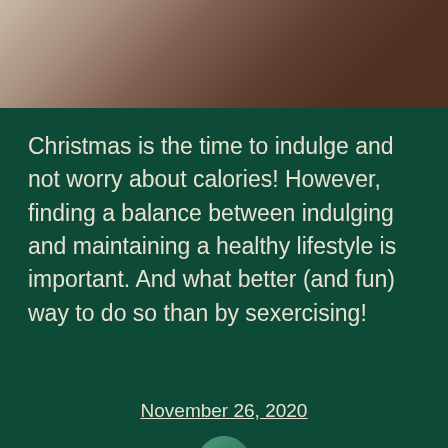[Figure (photo): Cropped photo showing a person in a white shirt, only the torso and hands visible, against a light background]
Christmas is the time to indulge and not worry about calories! However, finding a balance between indulging and maintaining a healthy lifestyle is important. And what better (and fun) way to do so than by sexercising!
November 26, 2020